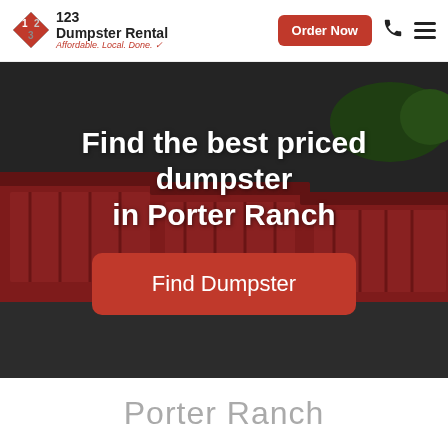[Figure (logo): 123 Dumpster Rental logo with diamond icon and tagline 'Affordable. Local. Done.']
Order Now
[Figure (photo): Hero image of red dumpsters lined up in a parking lot]
Find the best priced dumpster in Porter Ranch
Find Dumpster
Porter Ranch